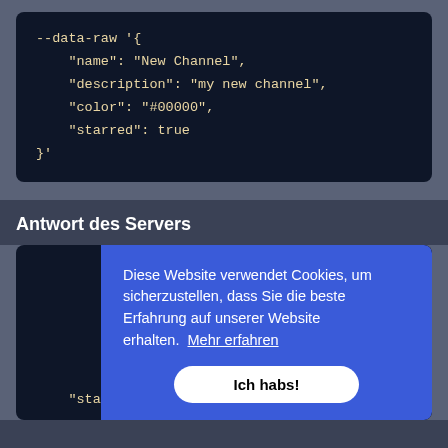[Figure (screenshot): Dark-themed code block showing JSON data-raw payload with name, description, color, starred fields]
Antwort des Servers
[Figure (screenshot): Screenshot of a dark-themed code response area overlaid with a blue cookie consent banner reading 'Diese Website verwendet Cookies, um sicherzustellen, dass Sie die beste Erfahrung auf unserer Website erhalten. Mehr erfahren' and a white button labeled 'Ich habs!']